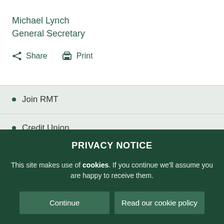Michael Lynch
General Secretary
Share  Print
Join RMT
Credit Union
PRIVACY NOTICE
This site makes use of cookies. If you continue we'll assume you are happy to receive them.
Continue    Read our cookie policy